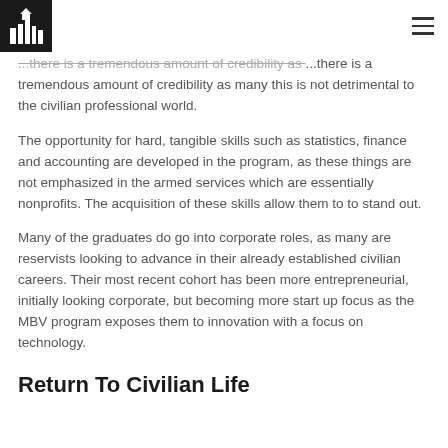[Logo] [Hamburger menu]
...there is a tremendous amount of credibility as many this is not detrimental to the civilian professional world.
The opportunity for hard, tangible skills such as statistics, finance and accounting are developed in the program, as these things are not emphasized in the armed services which are essentially nonprofits. The acquisition of these skills allow them to to stand out.
Many of the graduates do go into corporate roles, as many are reservists looking to advance in their already established civilian careers. Their most recent cohort has been more entrepreneurial, initially looking corporate, but becoming more start up focus as the MBV program exposes them to innovation with a focus on technology.
Return To Civilian Life